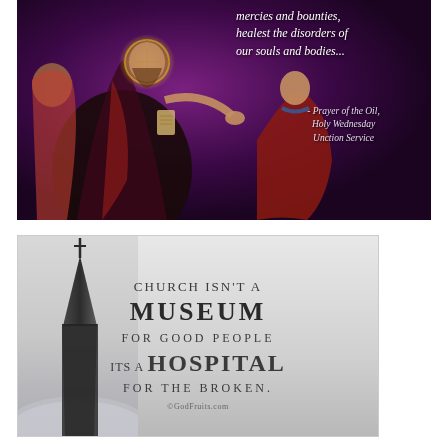[Figure (illustration): Religious icon painting depicting Jesus anointing a person, with text overlay quoting a prayer about mercies, bounties, and healing. Quote reads: 'mercies and bounties, healest the disorders of our souls and bodies... - Prayer of the Oil, Holy Wednesday Unction Service']
[Figure (illustration): Motivational religious graphic with church steeple silhouette in fog/mist background. Text reads: 'Church isn't a MUSEUM for good people its a HOSPITAL for the broken.' Attribution: ©GodFruits.com]